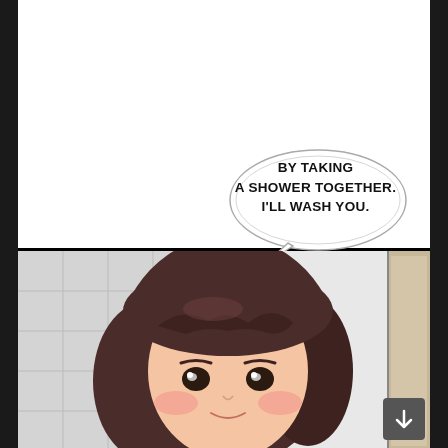[Figure (illustration): Top manga panel: white background panel with speech bubble containing text 'BY TAKING A SHOWER TOGETHER. I'LL WASH YOU.']
BY TAKING A SHOWER TOGETHER. I'LL WASH YOU.
[Figure (illustration): Bottom manga panel: anime-style girl with brown hair in a bathroom setting, blushing, looking upward. Bathroom tiles visible in background.]